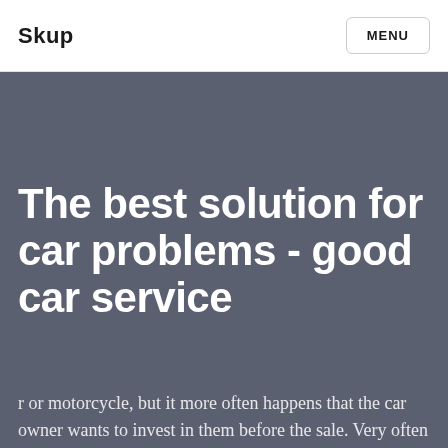Skup | MENU
The best solution for car problems - good car service
r or motorcycle, but it more often happens that the car owner wants to invest in them before the sale. Very often mentioning